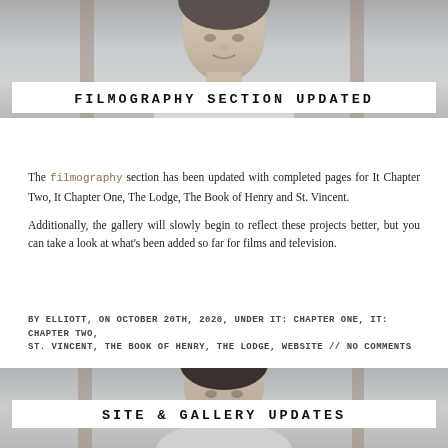[Figure (photo): Black and white photo of a young man (Jaeden Martell) from the shoulders up, looking at camera]
FILMOGRAPHY SECTION UPDATED
The filmography section has been updated with completed pages for It Chapter Two, It Chapter One, The Lodge, The Book of Henry and St. Vincent.
Additionally, the gallery will slowly begin to reflect these projects better, but you can take a look at what's been added so far for films and television.
BY ELLIOTT, ON OCTOBER 20TH, 2020, UNDER IT: CHAPTER ONE, IT: CHAPTER TWO, ST. VINCENT, THE BOOK OF HENRY, THE LODGE, WEBSITE // NO COMMENTS
[Figure (photo): Black and white photo of a young man (Jaeden Martell) from the shoulders up, looking at camera]
SITE & GALLERY UPDATES
The Jaeden Martell section of the site has been updated with some new information! The "Through the Years" page features photos of Jaeden throughout different times of his career, and the filmography page has been updated with